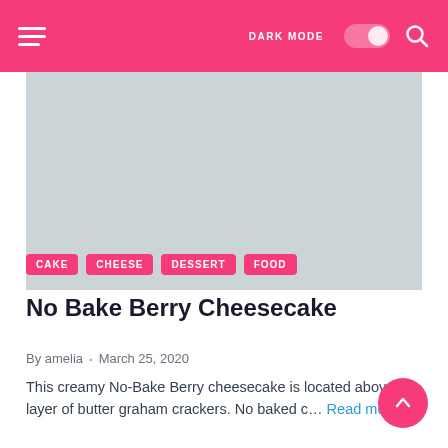DARK MODE [toggle] [search]
[Figure (photo): Large placeholder image area for the No Bake Berry Cheesecake recipe, shown as a light grey rectangle]
CAKE  CHEESE  DESSERT  FOOD
No Bake Berry Cheesecake
By amelia · March 25, 2020
This creamy No-Bake Berry cheesecake is located above a layer of butter graham crackers. No baked c… Read more